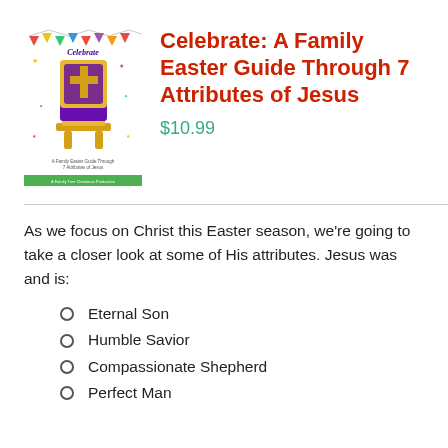[Figure (illustration): Book cover for 'Celebrate: A Family Easter Guide Through 7 Attributes of Jesus' showing a golden throne with a blue cross, confetti, bunting flags on a white background, with a green bar at the bottom.]
Celebrate: A Family Easter Guide Through 7 Attributes of Jesus
$10.99
As we focus on Christ this Easter season, we’re going to take a closer look at some of His attributes. Jesus was and is:
Eternal Son
Humble Savior
Compassionate Shepherd
Perfect Man